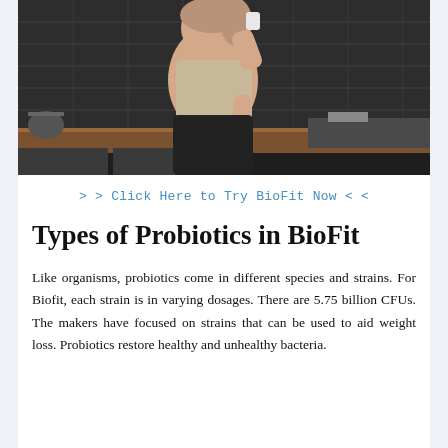[Figure (photo): A woman sitting on a kitchen counter, drinking from a cup and holding a supplement bottle, with dark tile wall and kitchen counter in background.]
> > Click Here to Try BioFit Now < <
Types of Probiotics in BioFit
Like organisms, probiotics come in different species and strains. For Biofit, each strain is in varying dosages. There are 5.75 billion CFUs. The makers have focused on strains that can be used to aid weight loss. Probiotics restore healthy and unhealthy bacteria.